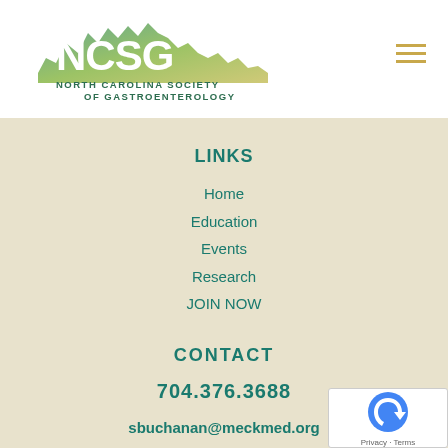[Figure (logo): NCSG North Carolina Society of Gastroenterology logo with mountain/state outline graphic]
LINKS
Home
Education
Events
Research
JOIN NOW
CONTACT
704.376.3688
sbuchanan@meckmed.org